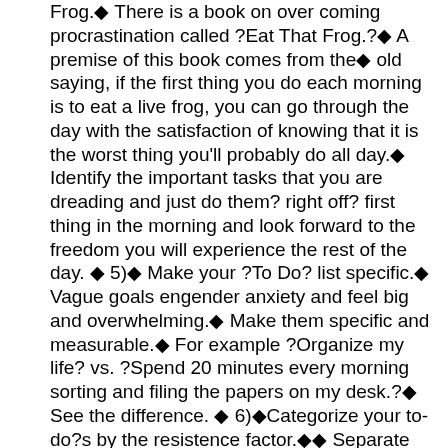Frog.◆ There is a book on over coming procrastination called ?Eat That Frog.?◆ A premise of this book comes from the◆ old saying, if the first thing you do each morning is to eat a live frog, you can go through the day with the satisfaction of knowing that it is the worst thing you'll probably do all day.◆ Identify the important tasks that you are dreading and just do them? right off? first thing in the morning and look forward to the freedom you will experience the rest of the day. ◆ 5)◆ Make your ?To Do? list specific.◆ Vague goals engender anxiety and feel big and overwhelming.◆ Make them specific and measurable.◆ For example ?Organize my life? vs. ?Spend 20 minutes every morning sorting and filing the papers on my desk.?◆ See the difference. ◆ 6)◆Categorize your to-do?s by the resistence factor.◆◆ Separate them into one of 4 categories; a) have to do / Want to do; b) Have to do / Don't